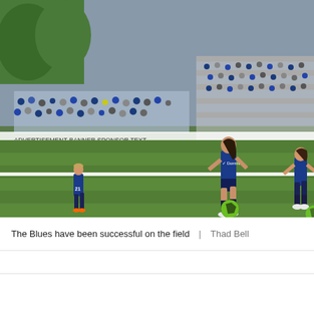[Figure (photo): Women's soccer players in blue uniforms on a green turf field during a match, with a large crowd of spectators in the stands behind them. The main player is dribbling a green and black soccer ball near a white sideline. Another player with number 21 is visible in the background.]
The Blues have been successful on the field  |  Thad Bell
[Figure (logo): Circular sports publication logo with a soccer ball in the center and text around the border]